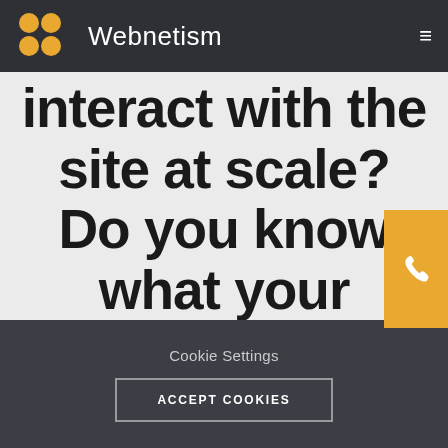Webnetism
interact with the site at scale? Do you know what your customers are doing and why? Well now you can.
Cookie Settings
ACCEPT COOKIES